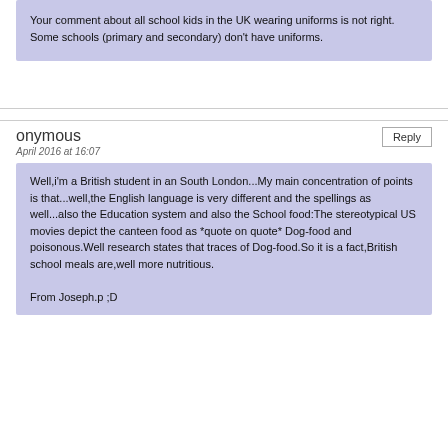Your comment about all school kids in the UK wearing uniforms is not right. Some schools (primary and secondary) don't have uniforms.
onymous
April 2016 at 16:07
Well,i'm a British student in an South London...My main concentration of points is that...well,the English language is very different and the spellings as well...also the Education system and also the School food:The stereotypical US movies depict the canteen food as *quote on quote* Dog-food and poisonous.Well research states that traces of Dog-food.So it is a fact,British school meals are,well more nutritious.

From Joseph.p ;D